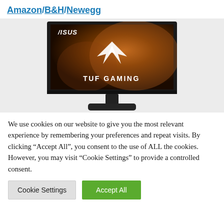Amazon/B&H/Newegg
[Figure (photo): ASUS TUF Gaming monitor product photo showing a widescreen gaming monitor with a dark golden planetary surface on display and the TUF Gaming logo in white, on a black stand with a wide rectangular base.]
We use cookies on our website to give you the most relevant experience by remembering your preferences and repeat visits. By clicking "Accept All", you consent to the use of ALL the cookies. However, you may visit "Cookie Settings" to provide a controlled consent.
Cookie Settings
Accept All